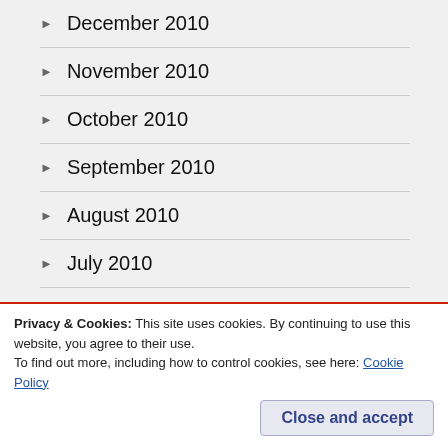December 2010
November 2010
October 2010
September 2010
August 2010
July 2010
June 2010
May 2010
Privacy & Cookies: This site uses cookies. By continuing to use this website, you agree to their use.
To find out more, including how to control cookies, see here: Cookie Policy
Close and accept